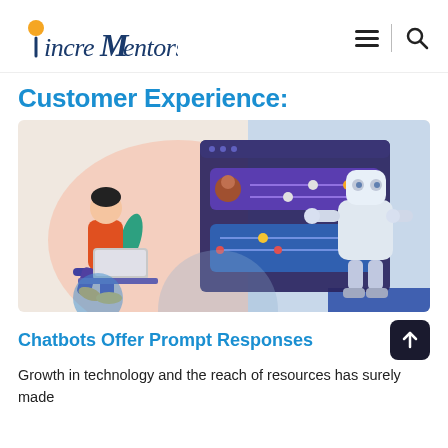[Figure (logo): IncreMentors logo with orange circle and blue/dark blue script text]
Customer Experience:
[Figure (illustration): Illustration of a person working on a laptop with a chatbot/AI robot interface in the background, showing a chat UI with user profile and controls, and a white robot on the right side]
Chatbots Offer Prompt Responses
Growth in technology and the reach of resources has surely made